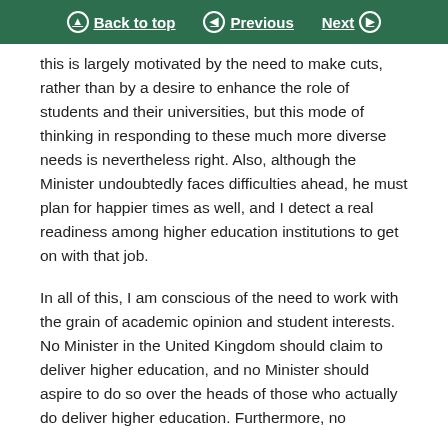Back to top  Previous  Next
this is largely motivated by the need to make cuts, rather than by a desire to enhance the role of students and their universities, but this mode of thinking in responding to these much more diverse needs is nevertheless right. Also, although the Minister undoubtedly faces difficulties ahead, he must plan for happier times as well, and I detect a real readiness among higher education institutions to get on with that job.
In all of this, I am conscious of the need to work with the grain of academic opinion and student interests. No Minister in the United Kingdom should claim to deliver higher education, and no Minister should aspire to do so over the heads of those who actually do deliver higher education. Furthermore, no